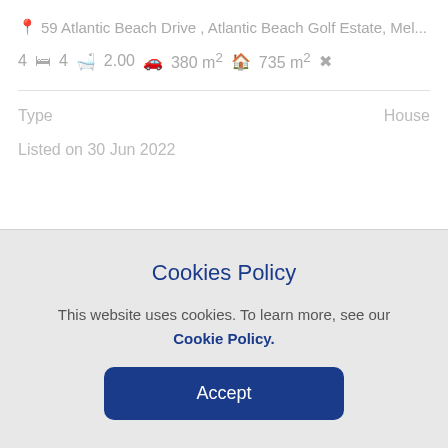59 Atlantic Beach Drive , Atlantic Beach Golf Estate, Mel...
4 bed  4 bath  2.00 car  380 m²  735 m²
Type    House
Listed on 30 Jun 2022
Cookies Policy
This website uses cookies. To learn more, see our Cookie Policy.
Accept